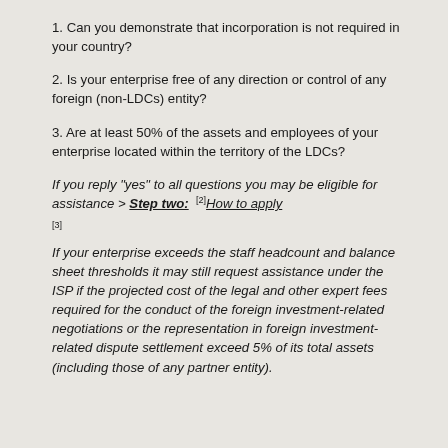1. Can you demonstrate that incorporation is not required in your country?
2. Is your enterprise free of any direction or control of any foreign (non-LDCs) entity?
3. Are at least 50% of the assets and employees of your enterprise located within the territory of the LDCs?
If you reply "yes" to all questions you may be eligible for assistance > Step two: [2]How to apply [3]
If your enterprise exceeds the staff headcount and balance sheet thresholds it may still request assistance under the ISP if the projected cost of the legal and other expert fees required for the conduct of the foreign investment-related negotiations or the representation in foreign investment-related dispute settlement exceed 5% of its total assets (including those of any partner entity).